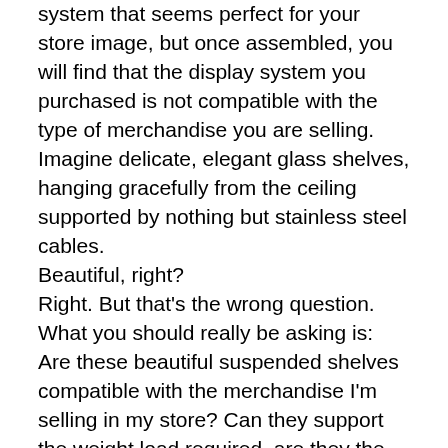system that seems perfect for your store image, but once assembled, you will find that the display system you purchased is not compatible with the type of merchandise you are selling. Imagine delicate, elegant glass shelves, hanging gracefully from the ceiling supported by nothing but stainless steel cables. Beautiful, right? Right. But that's the wrong question. What you should really be asking is: Are these beautiful suspended shelves compatible with the merchandise I'm selling in my store? Can they support the weight load required, are they the right scale for the products? That's why it is extremely important, to find an experienced store fixture supplier, that can advise you and will make sure the end result is